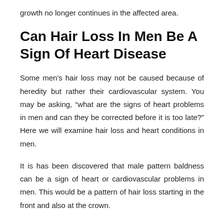growth no longer continues in the affected area.
Can Hair Loss In Men Be A Sign Of Heart Disease
Some men's hair loss may not be caused because of heredity but rather their cardiovascular system. You may be asking, “what are the signs of heart problems in men and can they be corrected before it is too late?” Here we will examine hair loss and heart conditions in men.
It is has been discovered that male pattern baldness can be a sign of heart or cardiovascular problems in men. This would be a pattern of hair loss starting in the front and also at the crown.